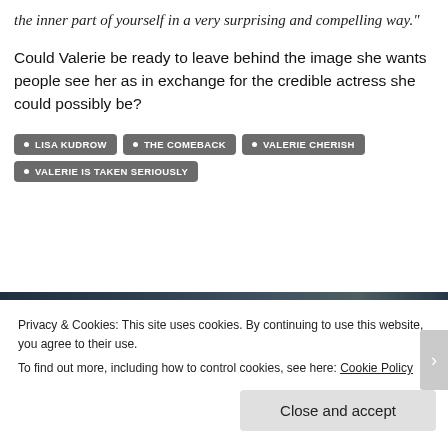the inner part of yourself in a very surprising and compelling way."
Could Valerie be ready to leave behind the image she wants people see her as in exchange for the credible actress she could possibly be?
• LISA KUDROW
• THE COMEBACK
• VALERIE CHERISH
• VALERIE IS TAKEN SERIOUSLY
[Figure (photo): Crowd/audience photo with people's heads visible from behind]
Privacy & Cookies: This site uses cookies. By continuing to use this website, you agree to their use.
To find out more, including how to control cookies, see here: Cookie Policy
Close and accept